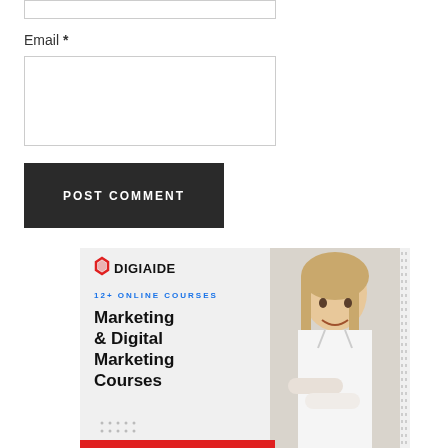Email *
POST COMMENT
[Figure (illustration): DigiAide advertisement banner showing logo, '12+ ONLINE COURSES' tagline, headline 'Marketing & Digital Marketing Courses', with a photo of a smiling blonde woman in a white shirt with arms crossed, on a light grey background with dotted border on right and red bar at bottom.]